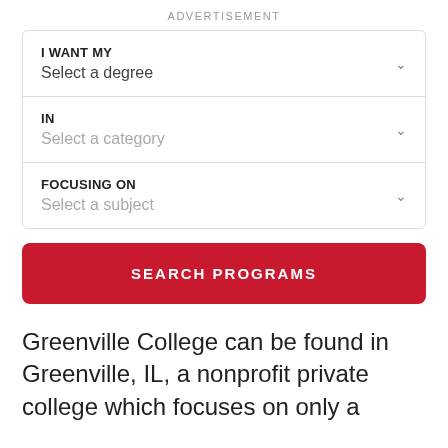ADVERTISEMENT
[Figure (screenshot): A search widget with three dropdown fields: 'I WANT MY / Select a degree', 'IN / Select a category', 'FOCUSING ON / Select a subject', each with a chevron arrow on the right, all enclosed in a rounded border card.]
SEARCH PROGRAMS
Greenville College can be found in Greenville, IL, a nonprofit private college which focuses on only a